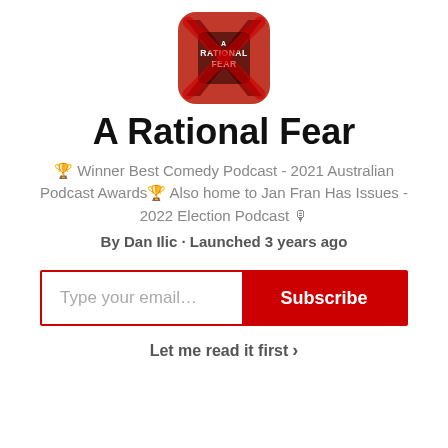[Figure (logo): A Rational Fear podcast logo — red rounded square with an X shape and text 'A RATIONAL FEAR']
A Rational Fear
🏆 Winner Best Comedy Podcast - 2021 Australian Podcast Awards🏆 Also home to Jan Fran Has Issues - 2022 Election Podcast 🎙
By Dan Ilic · Launched 3 years ago
[Figure (other): Email subscribe form with text input placeholder 'Type your email…' and a red Subscribe button]
Let me read it first  >